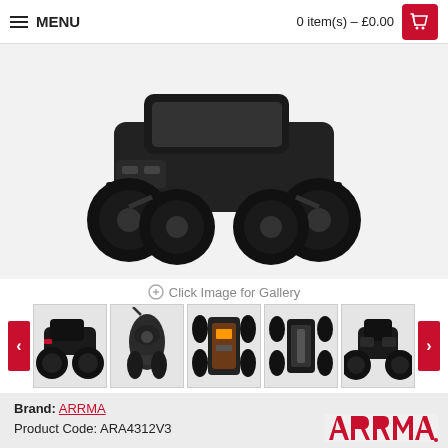MENU   0 item(s) – £0.00
[Figure (photo): Black ARRMA monster truck RC car photographed from front-left angle on white/grey background]
Click Image for Gallery
[Figure (photo): Thumbnail strip showing 5 views of the RC car: side view, remote controller, top-down chassis view, underside chassis view, and front angle view]
Brand: ARRMA
Product Code: ARA4312V3
[Figure (logo): ARRMA brand logo in red on light background]